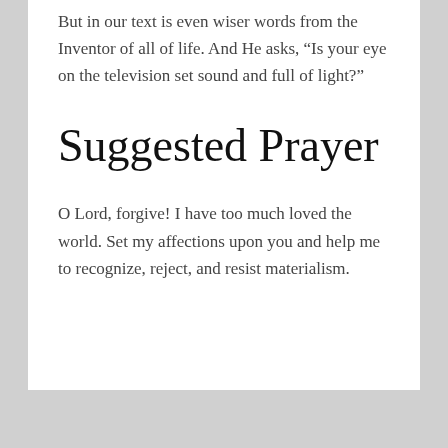But in our text is even wiser words from the Inventor of all of life. And He asks, “Is your eye on the television set sound and full of light?”
Suggested Prayer
O Lord, forgive! I have too much loved the world. Set my affections upon you and help me to recognize, reject, and resist materialism.